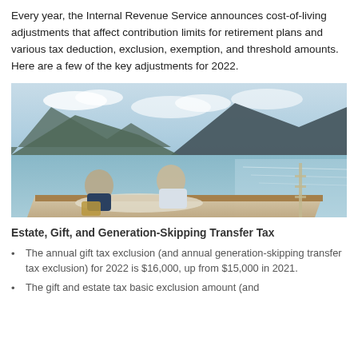Every year, the Internal Revenue Service announces cost-of-living adjustments that affect contribution limits for retirement plans and various tax deduction, exclusion, exemption, and threshold amounts. Here are a few of the key adjustments for 2022.
[Figure (photo): Middle-aged couple sitting and relaxing on the bow of a wooden boat on a calm lake surrounded by mountains under a partly cloudy sky.]
Estate, Gift, and Generation-Skipping Transfer Tax
The annual gift tax exclusion (and annual generation-skipping transfer tax exclusion) for 2022 is $16,000, up from $15,000 in 2021.
The gift and estate tax basic exclusion amount (and